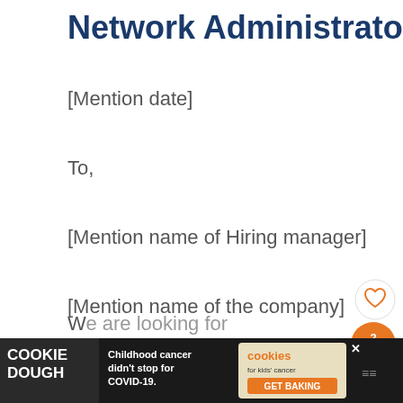Network Administrator Cover Letter
[Mention date]
To,
[Mention name of Hiring manager]
[Mention name of the company]
[Mention address of the company]
Dear [Mr. /Mrs. /Ms.] [Manager's name]
[Figure (screenshot): UI overlay elements: heart/like button, share button with count '2', and 'What's Next' promotional panel for 'Administrative Officer Cove...']
[Figure (screenshot): Advertisement banner: Cookie Dough brand ad with text 'Childhood cancer didn't stop for COVID-19.' and Cookies for Kids' Cancer GET BAKING logo]